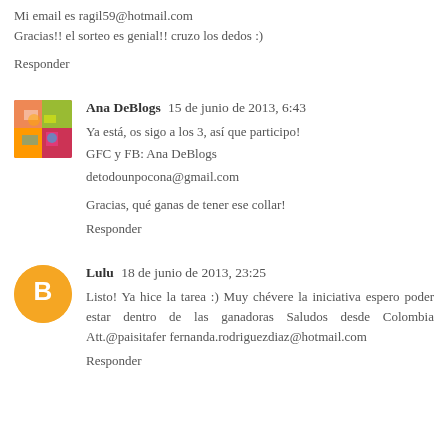Mi email es ragil59@hotmail.com
Gracias!! el sorteo es genial!! cruzo los dedos :)
Responder
Ana DeBlogs  15 de junio de 2013, 6:43
Ya está, os sigo a los 3, así que participo!
GFC y FB: Ana DeBlogs
detodounpocona@gmail.com

Gracias, qué ganas de tener ese collar!
Responder
Lulu  18 de junio de 2013, 23:25
Listo! Ya hice la tarea :) Muy chévere la iniciativa espero poder estar dentro de las ganadoras Saludos desde Colombia Att.@paisitafer fernanda.rodriguezdiaz@hotmail.com
Responder